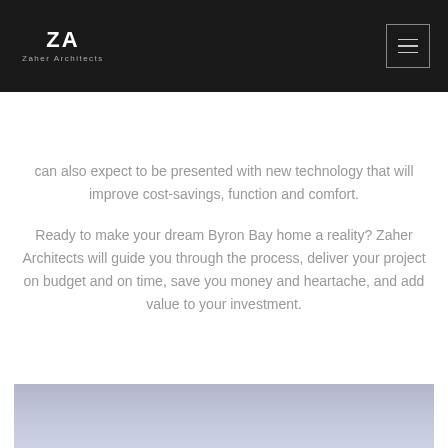ZA Zaher Architects
can also expect to be presented with new technology that will improve cost-savings, function and comfort.
Ready to make your dream Byron Bay home a reality? Zaher Architects will guide you through the process, deliver your project on budget and on time, save you money and heartache, and add value to your investment.
[Figure (photo): Architectural or landscape photograph showing a softly lit sky with muted blue-purple tones, partially visible at the bottom of the page.]